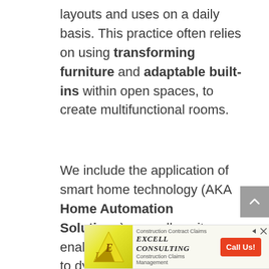layouts and uses on a daily basis. This practice often relies on using transforming furniture and adaptable built-ins within open spaces, to create multifunctional rooms.
We include the application of smart home technology (AKA Home Automation Solutions), as well, as it can enable the inside environment to dynamically adjust to the needs of its inhabitants. This concept is also
[Figure (other): Advertisement banner for Excell Consulting — Construction Contract Claims and Construction Claims Management, with a yellow/gold logo and orange 'Call Us!' button.]